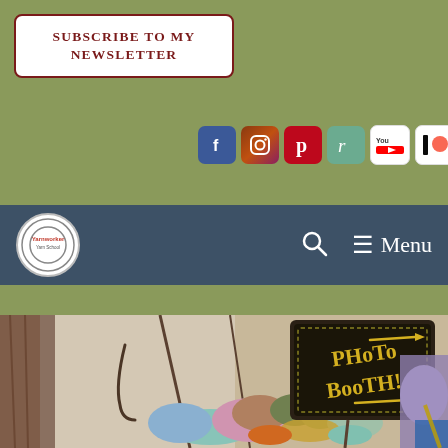[Figure (screenshot): Website header screenshot showing a newsletter subscribe button, social media icons (Facebook, Instagram, Pinterest, Ravelry, YouTube, Patreon), a navigation bar with a yarn-worker logo, search icon, and menu text, and a photo of yarn/fiber crafts with a 'Photo Booth!' sign at a craft fair.]
SUBSCRIBE TO MY NEWSLETTER